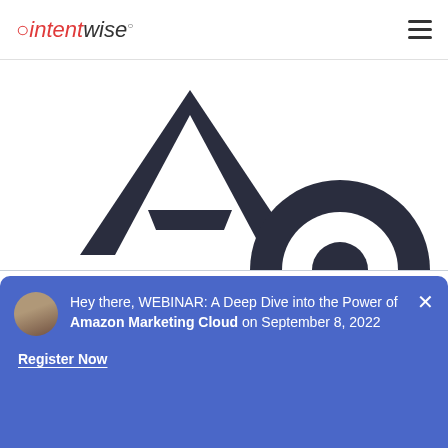intentwise [hamburger menu]
[Figure (logo): Large dark navy letter A logo (Advertising/Amazon style) and partial circular logo partially visible, on white background]
This website stores cookie on your computer. These cookies are used to collect information about how you interact with our website and allow us to remember you. We use this information in order to improve and customize your browsing experience and for analytics and metrics about our visitors both on this website and other media. To find out more about the cookies we use, see our Privacy Policy
Hey there, WEBINAR: A Deep Dive into the Power of Amazon Marketing Cloud on September 8, 2022
Register Now